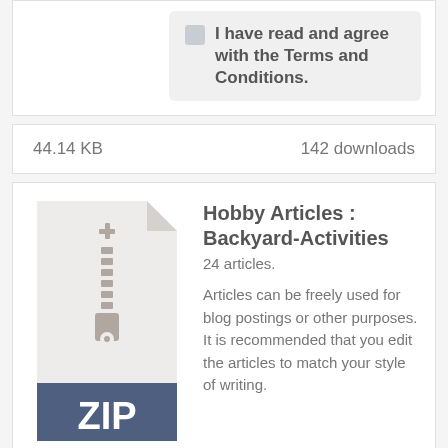I have read and agree with the Terms and Conditions.
44.14 KB    142 downloads
[Figure (illustration): ZIP file icon with zipper graphic on a light beige document shape, with a dark navy blue footer band showing 'ZIP' in white bold text]
Hobby Articles : Backyard-Activities
24 articles.
Articles can be freely used for blog postings or other purposes. It is recommended that you edit the articles to match your style of writing.